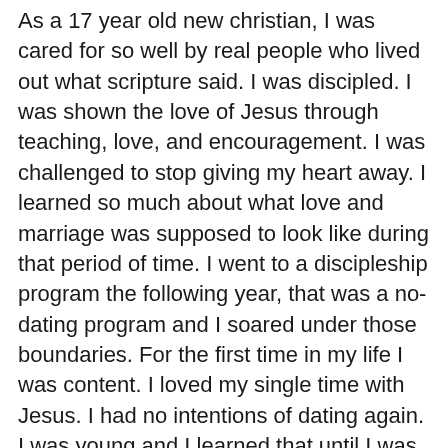As a 17 year old new christian, I was cared for so well by real people who lived out what scripture said. I was discipled. I was shown the love of Jesus through teaching, love, and encouragement. I was challenged to stop giving my heart away. I learned so much about what love and marriage was supposed to look like during that period of time. I went to a discipleship program the following year, that was a no-dating program and I soared under those boundaries. For the first time in my life I was content. I loved my single time with Jesus. I had no intentions of dating again. I was young and I learned that until I was ready to date towards marriage then I wouldn't give my heart away.
I met Hedge a few months shy of turning 20. He was not on my radar, but I am so incredibly thankful that He was God's plan for me. Hedge was a godly man with strong character. He was a gentleman to women and He was intentional about who he befriended. He didn't woo my heart with empty promises, he prayed for us every step of the way in our early dating days. God used him to bring healing to my heart through his gentle leading and reliance on Jesus. His vulnerability in Christ and desire to pray together for direction